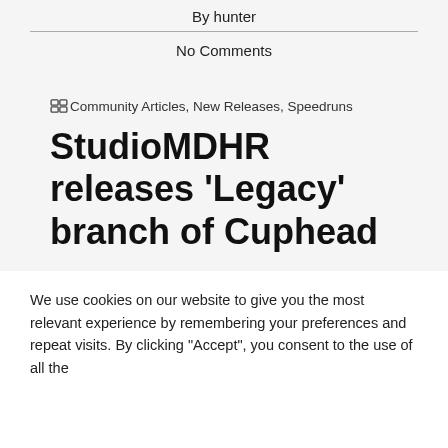By hunter
No Comments
Community Articles, New Releases, Speedruns
StudioMDHR releases ‘Legacy’ branch of Cuphead
We use cookies on our website to give you the most relevant experience by remembering your preferences and repeat visits. By clicking “Accept”, you consent to the use of all the